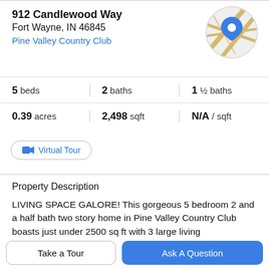912 Candlewood Way
Fort Wayne, IN 46845
Pine Valley Country Club
[Figure (map): Circular map thumbnail with a blue location pin marker on a beige/grey street map background]
5 beds   2 baths   1 ½ baths
0.39 acres   2,498 sqft   N/A / sqft
Virtual Tour
Property Description
LIVING SPACE GALORE! This gorgeous 5 bedroom 2 and a half bath two story home in Pine Valley Country Club boasts just under 2500 sq ft with 3 large living
spaces including an 18 x 15 living room, a 21 x 12 family
Take a Tour
Ask A Question